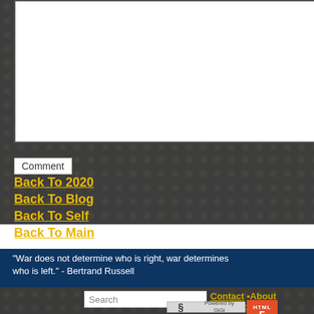[Figure (screenshot): White content box on dark patterned background representing a comment/content area]
Comment
Back To 2020
Back To Blog
Back To Self
Back To Main
"War does not determine who is right, war determines who is left." - Bertrand Russell
Search | Contact • About • Sitemap | Powered by GiGi | HTML5